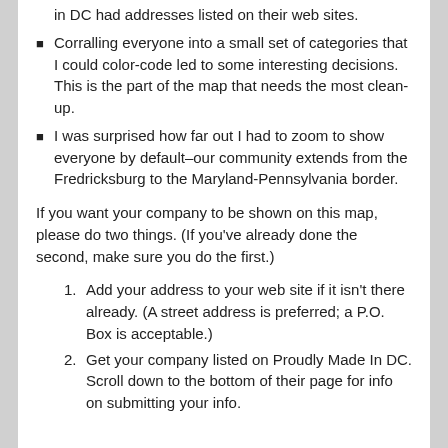in DC had addresses listed on their web sites.
Corralling everyone into a small set of categories that I could color-code led to some interesting decisions. This is the part of the map that needs the most clean-up.
I was surprised how far out I had to zoom to show everyone by default–our community extends from the Fredricksburg to the Maryland-Pennsylvania border.
If you want your company to be shown on this map, please do two things. (If you've already done the second, make sure you do the first.)
Add your address to your web site if it isn't there already. (A street address is preferred; a P.O. Box is acceptable.)
Get your company listed on Proudly Made In DC. Scroll down to the bottom of their page for info on submitting your info.